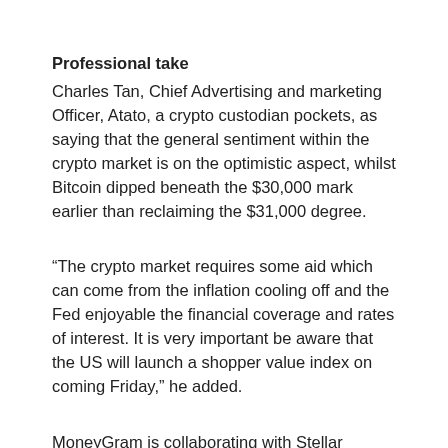Professional take
Charles Tan, Chief Advertising and marketing Officer, Atato, a crypto custodian pockets, as saying that the general sentiment within the crypto market is on the optimistic aspect, whilst Bitcoin dipped beneath the $30,000 mark earlier than reclaiming the $31,000 degree.
“The crypto market requires some aid which can come from the inflation cooling off and the Fed enjoyable the financial coverage and rates of interest. It is very important be aware that the US will launch a shopper value index on coming Friday,” he added.
MoneyGram is collaborating with Stellar Growth Basis to launch a service that can permit customers to seamlessly ship and convert